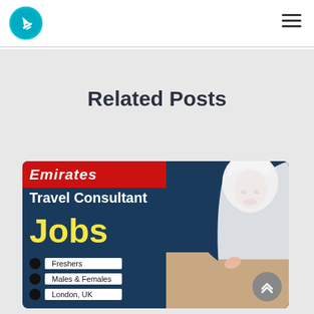[Figure (logo): Circular turquoise logo with white airplane icon]
[Figure (other): Hamburger menu icon (three horizontal lines) in top right corner]
Related Posts
[Figure (infographic): Emirates Travel Consultant Jobs promotional banner featuring a woman in white hijab and beige blazer, with text listing Freshers, Males & Females, London UK]